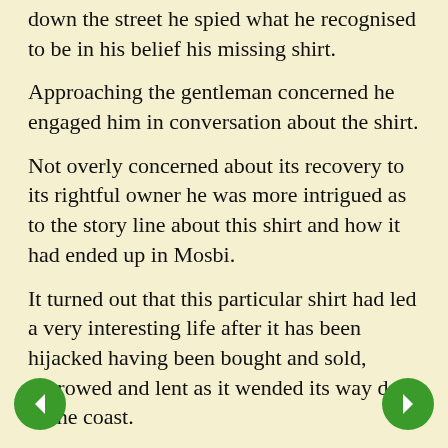down the street he spied what he recognised to be in his belief his missing shirt.
Approaching the gentleman concerned he engaged him in conversation about the shirt.
Not overly concerned about its recovery to its rightful owner he was more intrigued as to the story line about this shirt and how it had ended up in Mosbi.
It turned out that this particular shirt had led a very interesting life after it has been hijacked having been bought and sold, borrowed and lent as it wended its way don to the coast.
The conversation ended with the shirt's new owner offering to give the shirt back.